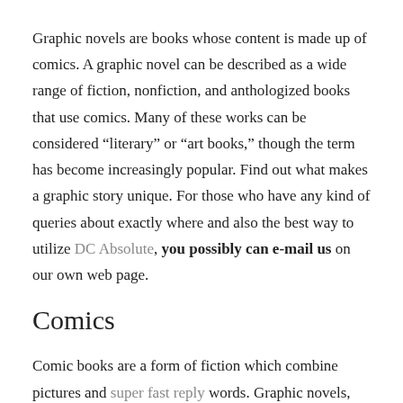Graphic novels are books whose content is made up of comics. A graphic novel can be described as a wide range of fiction, nonfiction, and anthologized books that use comics. Many of these works can be considered “literary” or “art books,” though the term has become increasingly popular. Find out what makes a graphic story unique. For those who have any kind of queries about exactly where and also the best way to utilize DC Absolute, you possibly can e-mail us on our own web page.
Comics
Comic books are a form of fiction which combine pictures and super fast reply words. Graphic novels, unlike traditional novels, require a coherent relationship between the word as